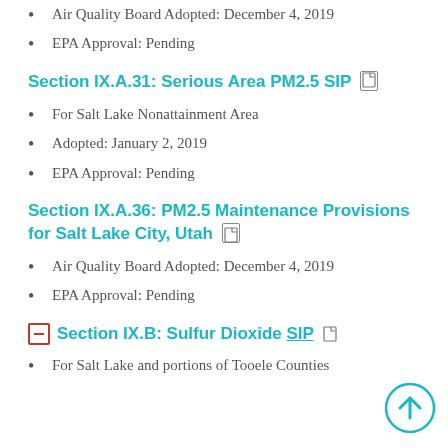Air Quality Board Adopted: December 4, 2019
EPA Approval: Pending
Section IX.A.31: Serious Area PM2.5 SIP
For Salt Lake Nonattainment Area
Adopted: January 2, 2019
EPA Approval: Pending
Section IX.A.36: PM2.5 Maintenance Provisions for Salt Lake City, Utah
Air Quality Board Adopted: December 4, 2019
EPA Approval: Pending
Section IX.B: Sulfur Dioxide SIP
For Salt Lake and portions of Tooele Counties